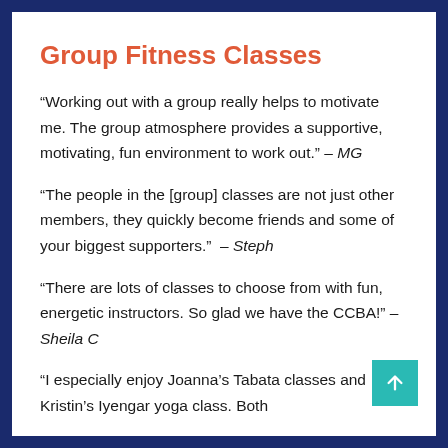Group Fitness Classes
“Working out with a group really helps to motivate me. The group atmosphere provides a supportive, motivating, fun environment to work out.” – MG
“The people in the [group] classes are not just other members, they quickly become friends and some of your biggest supporters.” – Steph
“There are lots of classes to choose from with fun, energetic instructors. So glad we have the CCBA!” – Sheila C
“I especially enjoy Joanna’s Tabata classes and Kristin’s Iyengar yoga class. Both